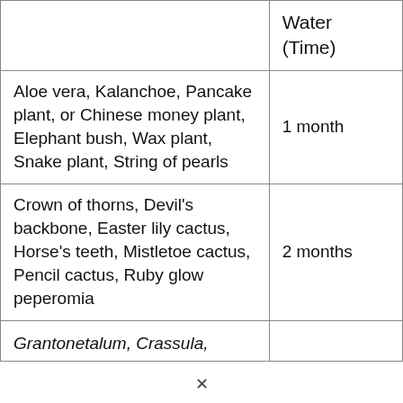|  | Water (Time) |
| --- | --- |
| Aloe vera, Kalanchoe, Pancake plant, or Chinese money plant, Elephant bush, Wax plant, Snake plant, String of pearls | 1 month |
| Crown of thorns, Devil's backbone, Easter lily cactus, Horse's teeth, Mistletoe cactus, Pencil cactus, Ruby glow peperomia | 2 months |
| Grantonetalum, Crassula, |  |